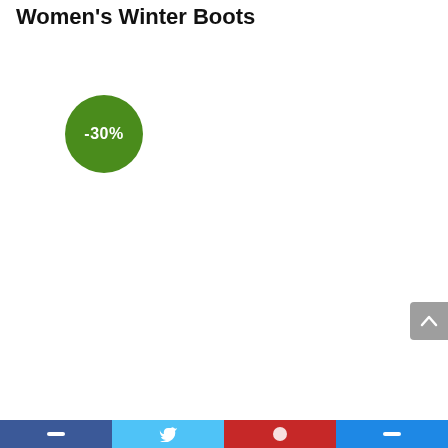Women's Winter Boots
[Figure (infographic): Green circular badge with white text showing -30% discount]
[Figure (other): Gray scroll-to-top button with upward chevron arrow, positioned at right edge]
Social sharing bar with Facebook, Twitter, Pinterest, and another social platform icons